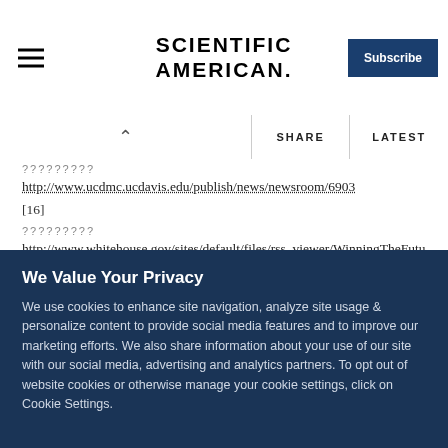SCIENTIFIC AMERICAN
http://www.ucdmc.ucdavis.edu/publish/news/newsroom/6903
[16]
http://www.whitehouse.gov/sites/default/files/rss_viewer/WinningTheFutureImprovingLatinoEducation.pdf
[17]
http://www.census.gov/compendia/statab/2012/tables/12s0229.pdf
We Value Your Privacy
We use cookies to enhance site navigation, analyze site usage & personalize content to provide social media features and to improve our marketing efforts. We also share information about your use of our site with our social media, advertising and analytics partners. To opt out of website cookies or otherwise manage your cookie settings, click on Cookie Settings.